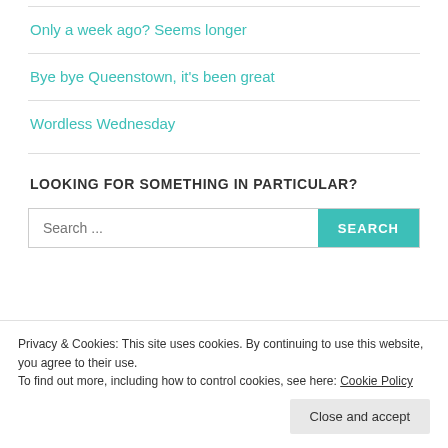Only a week ago? Seems longer
Bye bye Queenstown, it's been great
Wordless Wednesday
LOOKING FOR SOMETHING IN PARTICULAR?
Search ...
Privacy & Cookies: This site uses cookies. By continuing to use this website, you agree to their use.
To find out more, including how to control cookies, see here: Cookie Policy
Close and accept